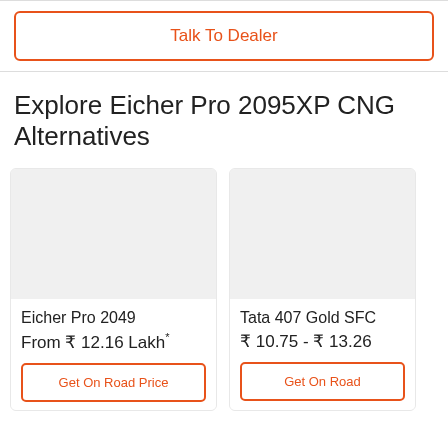Talk To Dealer
Explore Eicher Pro 2095XP CNG Alternatives
[Figure (other): Product card for Eicher Pro 2049 showing vehicle image placeholder, name, price, and button]
Eicher Pro 2049
From ₹ 12.16 Lakh*
Get On Road Price
[Figure (other): Product card for Tata 407 Gold SFC showing vehicle image placeholder, name, price range, and button]
Tata 407 Gold SFC
₹ 10.75 - ₹ 13.26
Get On Road